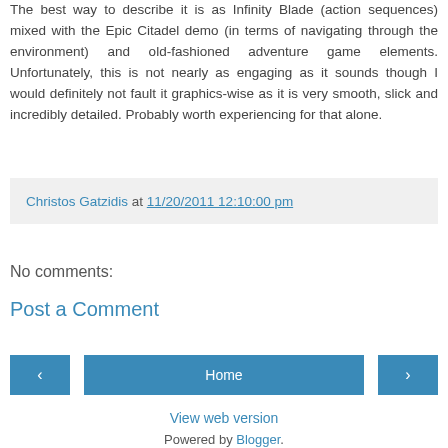The best way to describe it is as Infinity Blade (action sequences) mixed with the Epic Citadel demo (in terms of navigating through the environment) and old-fashioned adventure game elements. Unfortunately, this is not nearly as engaging as it sounds though I would definitely not fault it graphics-wise as it is very smooth, slick and incredibly detailed. Probably worth experiencing for that alone.
Christos Gatzidis at 11/20/2011 12:10:00 pm
No comments:
Post a Comment
‹
Home
›
View web version
Powered by Blogger.